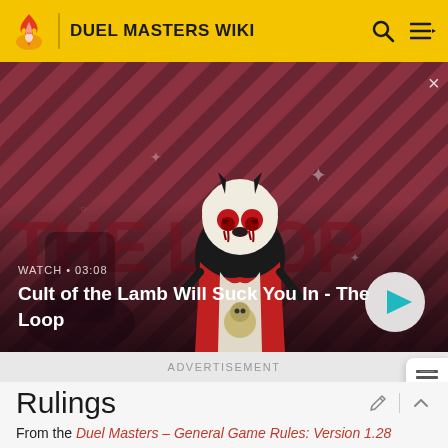DUEL MASTERS WIKI
[Figure (screenshot): Video thumbnail for 'Cult of the Lamb Will Suck You In - The Loop' showing an animated lamb character with red eyes on a red diagonal striped background. Duration shown as 03:08. The Loop branding visible.]
WATCH • 03:08
Cult of the Lamb Will Suck You In - The Loop
ADVERTISEMENT
Rulings
From the Duel Masters – General Game Rules: Version 1.28